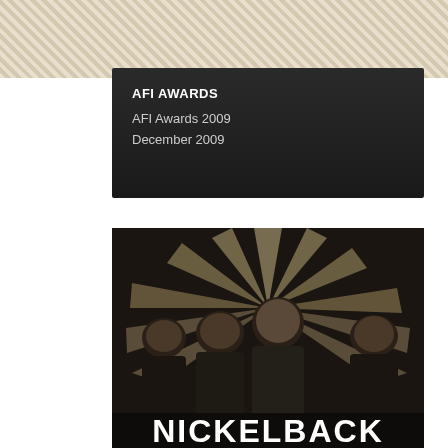[Figure (illustration): Diagonal stripe decorative header background in beige/tan colors]
AFI AWARDS
AFI Awards 2009
December 2009
[Figure (photo): Band photo of Nickelback: four men wearing sunglasses and dark clothing standing in front of a sunburst background, with the band name NICKELBACK displayed in distressed white text at the bottom]